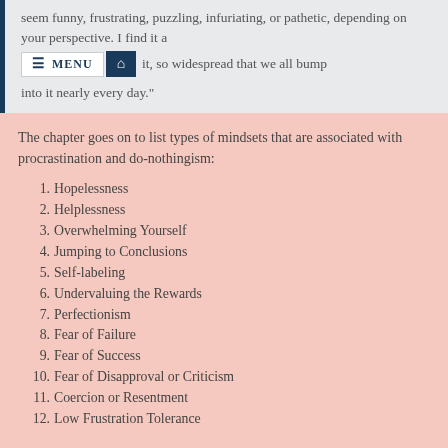seem funny, frustrating, puzzling, infuriating, or pathetic, depending on your perspective. I find it a it, so widespread that we all bump into it nearly every day."
The chapter goes on to list types of mindsets that are associated with procrastination and do-nothingism:
1. Hopelessness
2. Helplessness
3. Overwhelming Yourself
4. Jumping to Conclusions
5. Self-labeling
6. Undervaluing the Rewards
7. Perfectionism
8. Fear of Failure
9. Fear of Success
10. Fear of Disapproval or Criticism
11. Coercion or Resentment
12. Low Frustration Tolerance